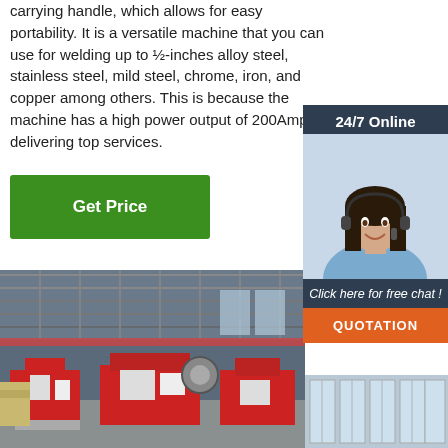carrying handle, which allows for easy portability. It is a versatile machine that you can use for welding up to ½-inches alloy steel, stainless steel, mild steel, chrome, iron, and copper among others. This is because the machine has a high power output of 200Amp for delivering top services.
[Figure (other): Green 'Get Price' button]
[Figure (infographic): 24/7 Online customer service sidebar with photo of woman wearing headset, 'Click here for free chat!' text, and orange QUOTATION button]
[Figure (photo): Industrial factory interior showing red manufacturing machines (band saws or similar industrial equipment) in a large warehouse with steel roof structure]
[Figure (photo): Partial view of a modern building exterior with large windows]